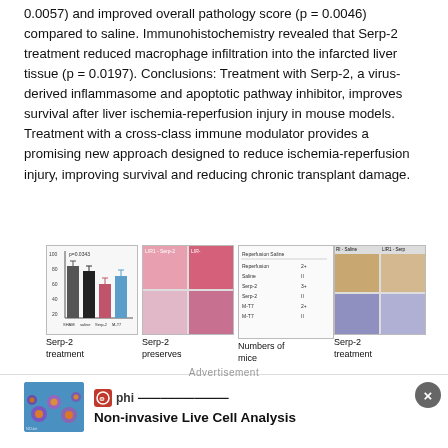0.0057) and improved overall pathology score (p = 0.0046) compared to saline. Immunohistochemistry revealed that Serp-2 treatment reduced macrophage infiltration into the infarcted liver tissue (p = 0.0197). Conclusions: Treatment with Serp-2, a virus-derived inflammasome and apoptotic pathway inhibitor, improves survival after liver ischemia-reperfusion injury in mouse models. Treatment with a cross-class immune modulator provides a promising new approach designed to reduce ischemia-reperfusion injury, improving survival and reducing chronic transplant damage.
[Figure (bar-chart): Bar chart showing treatment groups with p=0.0343 annotation]
[Figure (photo): Histology images of LIR1 Serp-2 and LIR treated liver tissue]
[Figure (table-as-image): Table showing numbers of mice across treatment groups: Reperfusion, Saline, Serp-2, M-T7]
[Figure (photo): Immunohistochemistry images showing RI-Saline and LIR1-Serp macrophage infiltration]
Serp-2 treatment
Serp-2 preserves
Numbers of mice
Serp-2 treatment
Advertisement
[Figure (photo): Advertisement image showing colorful spheres/cells on blue background]
Non-invasive Live Cell Analysis